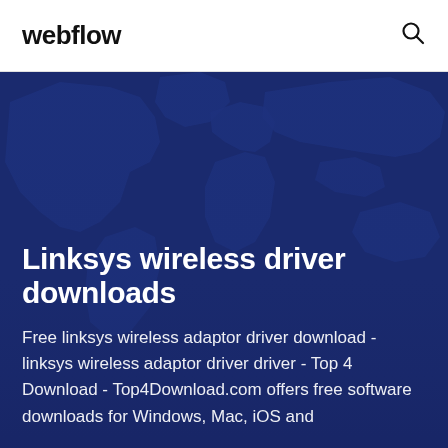webflow
Linksys wireless driver downloads
Free linksys wireless adaptor driver download - linksys wireless adaptor driver driver - Top 4 Download - Top4Download.com offers free software downloads for Windows, Mac, iOS and